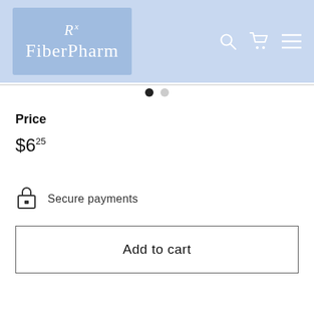[Figure (logo): Fiber Pharm logo on light blue background with Rx script symbol above text 'FiberPharm']
[Figure (other): Navigation icons: search (magnifying glass), cart, and hamburger menu on light blue header background]
[Figure (other): Carousel pagination dots: one filled black dot and one light gray dot]
Price
$6.25
Secure payments
Add to cart